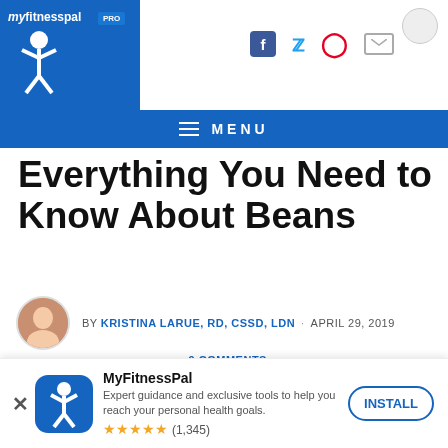myfitnesspal PRO
Everything You Need to Know About Beans
BY KRISTINA LARUE, RD, CSSD, LDN · APRIL 29, 2019 · 9 COMMENTS
SHARE IT:
Not only are plant-based protein sources versatile and delicious, but they're also great for fueling we...particular, beans are a cost-effective...protein and fiber intake
You're taking control of your
MyFitnessPal
Expert guidance and exclusive tools to help you reach your personal health goals.
★★★★★ (1,345)